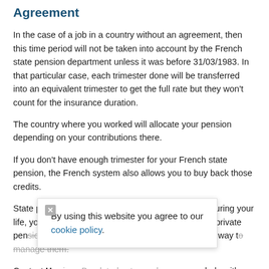Agreement
In the case of a job in a country without an agreement, then this time period will not be taken into account by the French state pension department unless it was before 31/03/1983. In that particular case, each trimester done will be transferred into an equivalent trimester to get the full rate but they won't count for the insurance duration.
The country where you worked will allocate your pension depending on your contributions there.
If you don't have enough trimester for your French state pension, the French system also allows you to buy back those credits.
State pension is likely not to be your only pension. During your life, you probably have contributed to many different private pensions and consolidating them would be an easier way to manage them.
Contact Harrison Brook today to see how we can help with your retirement planning in France.